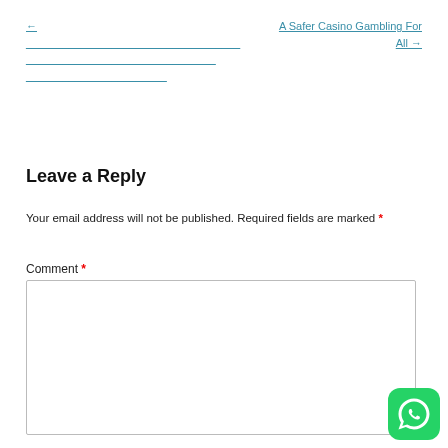← [link]
A Safer Casino Gambling For All →
Leave a Reply
Your email address will not be published. Required fields are marked *
Comment *